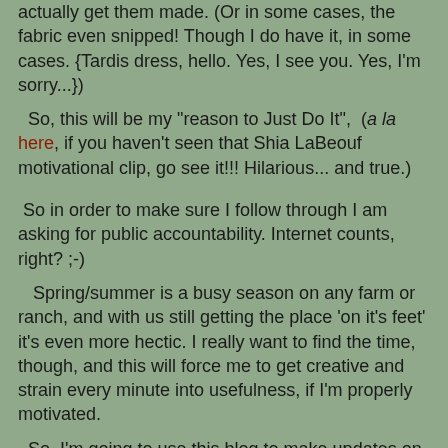actually get them made. (Or in some cases, the fabric even snipped! Though I do have it, in some cases. {Tardis dress, hello. Yes, I see you. Yes, I'm sorry...})
So, this will be my "reason to Just Do It",  (a la here, if you haven't seen that Shia LaBeouf motivational clip, go see it!!! Hilarious... and true.)
So in order to make sure I follow through I am asking for public accountability. Internet counts, right? ;-)
Spring/summer is a busy season on any farm or ranch, and with us still getting the place 'on it's feet' it's even more hectic. I really want to find the time, though, and this will force me to get creative and strain every minute into usefulness, if I'm properly motivated.
So, I'm going to use this blog to make updates on my projects, (hashtag "6costumes2months") and spread the word! (FB, Twitter...) I know a lot of you great people will be too busy to comment, like or in other ways spur me on at